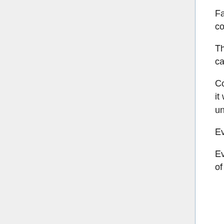Facing Layfon who couldn't say half a word, Sharnid quietly mumbled the conclusion he had reached himself.
The can in the air still hadn't fallen. Sharnid obviously wasn't looking at the can, but the Kei bursts shot from his finger hadn't missed.
Compared to a year before, Sharnid's power had also increased. Whether it was Sakkei, shooting techniques, or methods of releasing Kei, he had undoubtedly made notable progress.
Even so, he couldn't catch up to the strength required to join the battlefield.
Even thinking about the battle before with the giants, Layfon couldn't think of a way to use Sharnid's kind of battle strength.